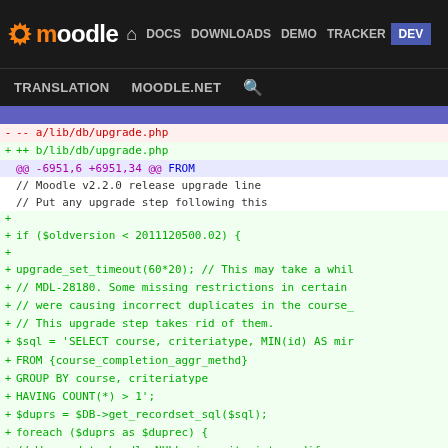moodle DOCS DOWNLOADS DEMO TRACKER DEV
TRANSLATION MOODLE.NET [search]
[Figure (screenshot): Moodle developer site navigation bar with logo and links: DOCS, DOWNLOADS, DEMO, TRACKER, DEV (active/highlighted), TRANSLATION, MOODLE.NET, search icon]
--- a/lib/db/upgrade.php
+++ b/lib/db/upgrade.php
@@ -6951,6 +6951,34 @@ FROM
     // Moodle v2.2.0 release upgrade line
     // Put any upgrade step following this

+    if ($oldversion < 2011120500.02) {
+
+        upgrade_set_timeout(60*20); // This may take a whil
+        // MDL-28180. Some missing restrictions in certain
+        // were causing incorrect duplicates in the course_
+        // This upgrade step takes rid of them.
+        $sql = 'SELECT course, criteriatype, MIN(id) AS mir
+                FROM {course_completion_aggr_methd}
+             GROUP BY course, criteriatype
+             HAVING COUNT(*) > 1';
+        $duprs = $DB->get_recordset_sql($sql);
+        foreach ($duprs as $duprec) {
+            // We need to handle NULLs in criteriatype dife
+            if (is_null($duprec->criteriatype)) {
+                $where = 'course = ? AND criteriatype IS NU
+                $params = array($duprec->course, $duprec->m
+            } else {
+                $where = 'course = ? AND criteriatype = ? A
+                $params = array($duprec->course, $duprec->c
+        }